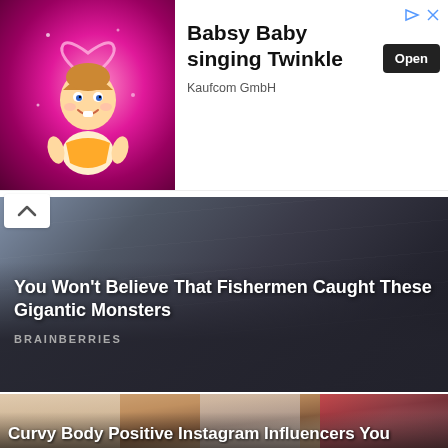[Figure (screenshot): Advertisement banner for 'Babsy Baby singing Twinkle' app by Kaufcom GmbH with cartoon baby image, Open button, and ad icons]
[Figure (screenshot): Content card with dark background showing fisherman/ocean scene: 'You Won't Believe That Fishermen Caught These Gigantic Monsters' by BRAINBERRIES]
[Figure (screenshot): Content card showing a tattooed woman breastfeeding a baby on a couch with dogs nearby, heading 'Curvy Body Positive Instagram Influencers You']